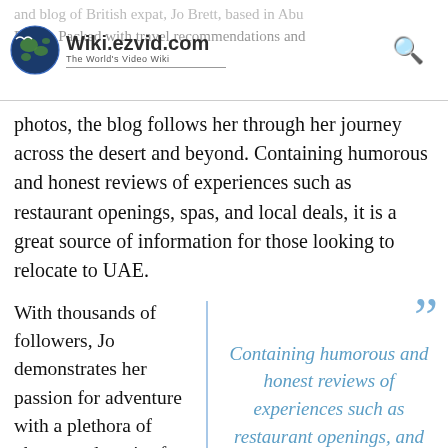Wiki.ezvid.com — The World's Video Wiki
and blog of British expat, Jo Brett, based in Abu Dhabi. Packed with travel recommendations and photos, the blog follows her through her journey across the desert and beyond. Containing humorous and honest reviews of experiences such as restaurant openings, spas, and local deals, it is a great source of information for those looking to relocate to UAE.
With thousands of followers, Jo demonstrates her passion for adventure with a plethora of photos and stories from her trips. She also features a guest section on her blog
Containing humorous and honest reviews of experiences such as restaurant openings, and